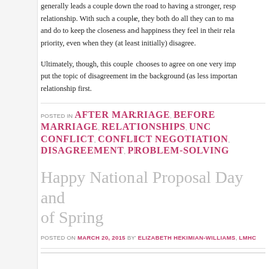generally leads a couple down the road to having a stronger, resp relationship. With such a couple, they both do all they can to ma and do to keep the closeness and happiness they feel in their rela priority, even when they (at least initially) disagree.
Ultimately, though, this couple chooses to agree on one very imp put the topic of disagreement in the background (as less importan relationship first.
POSTED IN AFTER MARRIAGE, BEFORE MARRIAGE, RELATIONSHIPS, UNC CONFLICT, CONFLICT NEGOTIATION, DISAGREEMENT, PROBLEM-SOLVING
Happy National Proposal Day and of Spring
POSTED ON MARCH 20, 2015 BY ELIZABETH HEKIMIAN-WILLIAMS, LHMC